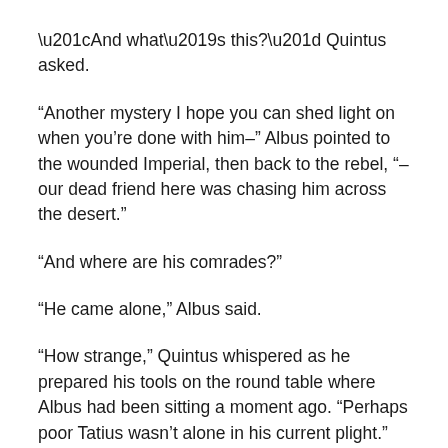“And what’s this?” Quintus asked.
“Another mystery I hope you can shed light on when you’re done with him–” Albus pointed to the wounded Imperial, then back to the rebel, “–our dead friend here was chasing him across the desert.”
“And where are his comrades?”
“He came alone,” Albus said.
“How strange,” Quintus whispered as he prepared his tools on the round table where Albus had been sitting a moment ago. “Perhaps poor Tatius wasn’t alone in his current plight.”
“Perhaps,” Albus granted, not convinced. Although his words were unusual, the rebel didn’t appear insane.